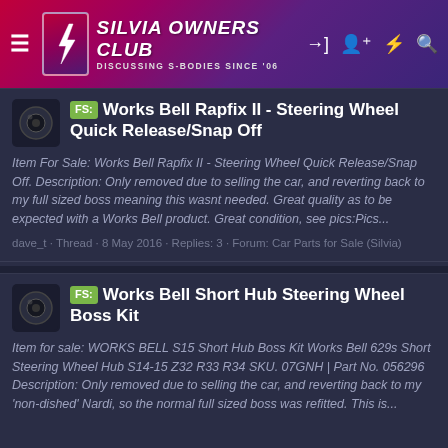SILVIA OWNERS CLUB — Discussing S-Bodies Since '06
FS: Works Bell Rapfix II - Steering Wheel Quick Release/Snap Off
Item For Sale: Works Bell Rapfix II - Steering Wheel Quick Release/Snap Off. Description: Only removed due to selling the car, and reverting back to my full sized boss meaning this wasnt needed. Great quality as to be expected with a Works Bell product. Great condition, see pics:Pics...
dave_t · Thread · 8 May 2016 · Replies: 3 · Forum: Car Parts for Sale (Silvia)
FS: Works Bell Short Hub Steering Wheel Boss Kit
Item for sale: WORKS BELL S15 Short Hub Boss Kit Works Bell 629s Short Steering Wheel Hub S14-15 Z32 R33 R34 SKU. 07GNH | Part No. 056296 Description: Only removed due to selling the car, and reverting back to my 'non-dished' Nardi, so the normal full sized boss was refitted. This is...